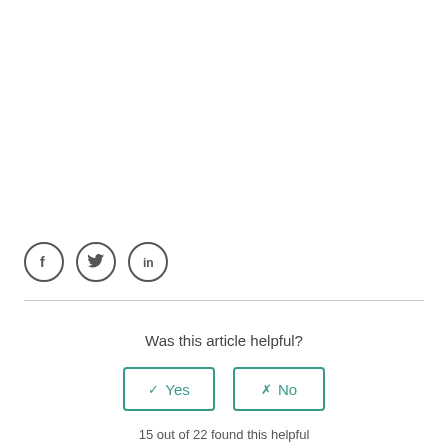[Figure (illustration): Social sharing icons: Facebook, Twitter, LinkedIn, each in a circle]
Was this article helpful?
✓ Yes  ✗ No (buttons)
15 out of 22 found this helpful